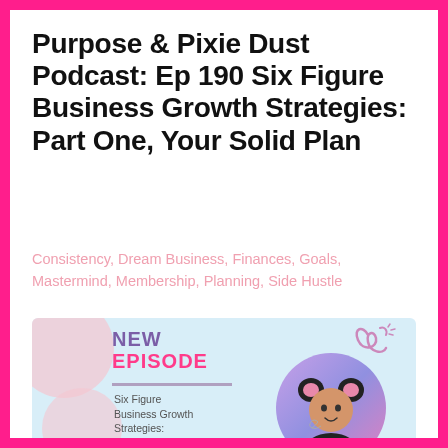Purpose & Pixie Dust Podcast: Ep 190 Six Figure Business Growth Strategies: Part One, Your Solid Plan
Consistency, Dream Business, Finances, Goals, Mastermind, Membership, Planning, Side Hustle
[Figure (illustration): Podcast episode card with light blue background, pink blobs, 'NEW EPISODE' text in purple and pink, a decorative logo, subtitle text 'Six Figure Business Growth Strategies: Part One, Your Solid Plan', and a circular photo of a woman wearing mouse ears.]